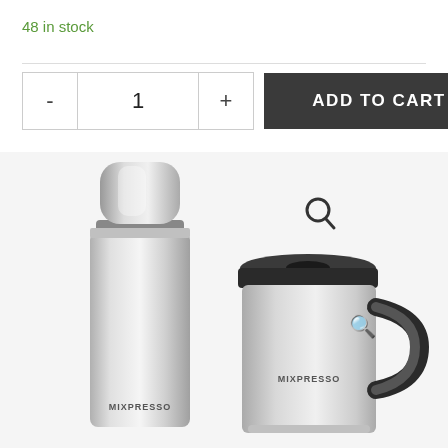48 in stock
[Figure (photo): Two Mixpresso branded stainless steel thermos/travel mug products on a light background. Left: a tall slim vacuum flask. Right: a travel mug with black lid and handle, both with MIXPRESSO branding.]